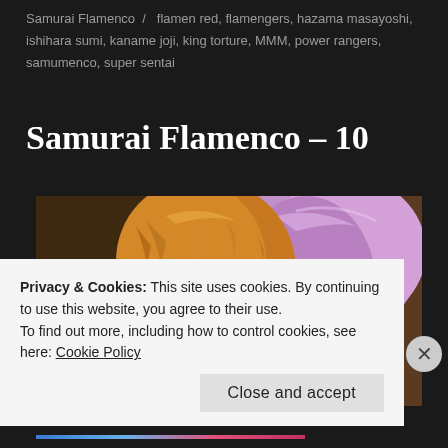Samurai Flamenco / flamen red, flamengers, hazama masayoshi, ishihara sumi, kaname joji, king torture, MMM, power rangers, samumenco, super sentai
Samurai Flamenco – 10
[Figure (illustration): Anime screenshot showing two characters close together – one with orange hair and brown eyes, and another with purple/pink hair and pearl hair accessories. Dark background.]
Privacy & Cookies: This site uses cookies. By continuing to use this website, you agree to their use.
To find out more, including how to control cookies, see here: Cookie Policy
Close and accept